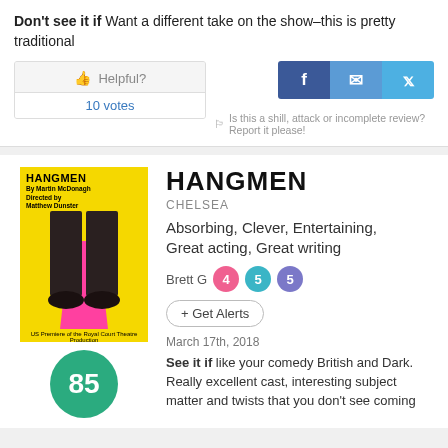Don't see it if Want a different take on the show–this is pretty traditional
👍 Helpful?
10 votes
Is this a shill, attack or incomplete review? Report it please!
[Figure (screenshot): HANGMEN theatre poster with yellow background and pink triangle, showing legs in dark trousers]
HANGMEN
CHELSEA
Absorbing, Clever, Entertaining, Great acting, Great writing
Brett G  4  5  5
+ Get Alerts
March 17th, 2018
See it if like your comedy British and Dark. Really excellent cast, interesting subject matter and twists that you don't see coming